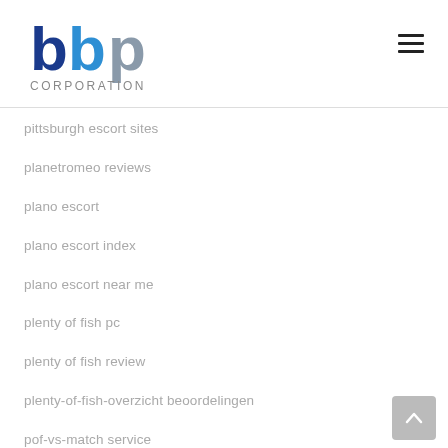[Figure (logo): BBP Corporation logo with blue and grey lettering and 'CORPORATION' text below]
pittsburgh escort sites
planetromeo reviews
plano escort
plano escort index
plano escort near me
plenty of fish pc
plenty of fish review
plenty-of-fish-overzicht beoordelingen
pof-vs-match service
pof-vs-okcupid sites